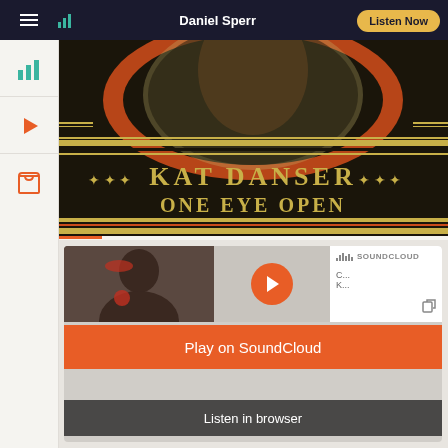Daniel Sperr — Listen Now
[Figure (illustration): Album art for Kat Danser 'One Eye Open' — vintage circus-style poster design with ornate gold and black lettering on dark background, featuring portrait in circular frame with red and orange decorative elements]
[Figure (screenshot): SoundCloud embedded player widget showing a photo of a musician, orange play button, SoundCloud branding, with 'Play on SoundCloud' orange button and 'Listen in browser' dark button overlay]